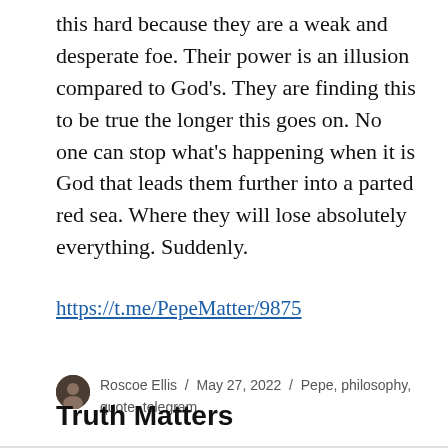this hard because they are a weak and desperate foe. Their power is an illusion compared to God's. They are finding this to be true the longer this goes on. No one can stop what's happening when it is God that leads them further into a parted red sea. Where they will lose absolutely everything. Suddenly.
https://t.me/PepeMatter/9875
Roscoe Ellis / May 27, 2022 / Pepe, philosophy, quote, telegram
Truth Matters